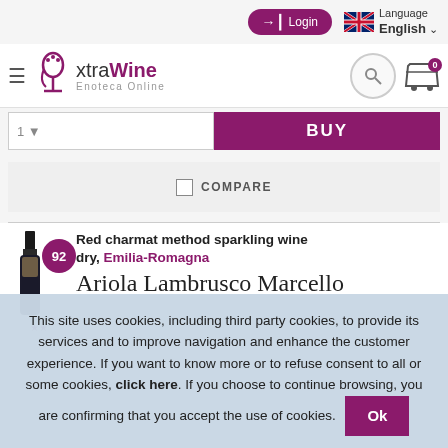Login  Language English
[Figure (logo): xtraWine Enoteca Online logo with wine glass icon]
[Figure (screenshot): Buy button bar with quantity selector and BUY button]
COMPARE checkbox
Red charmat method sparkling wine dry, Emilia-Romagna
Ariola Lambrusco Marcello
This site uses cookies, including third party cookies, to provide its services and to improve navigation and enhance the customer experience. If you want to know more or to refuse consent to all or some cookies, click here. If you choose to continue browsing, you are confirming that you accept the use of cookies. Ok